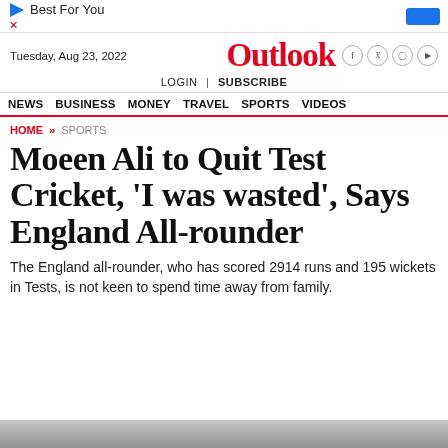Best For You
Tuesday, Aug 23, 2022 | Outlook | LOGIN | SUBSCRIBE
NEWS | BUSINESS | MONEY | TRAVEL | SPORTS | VIDEOS
HOME » SPORTS
Moeen Ali to Quit Test Cricket, 'I was wasted', Says England All-rounder
The England all-rounder, who has scored 2914 runs and 195 wickets in Tests, is not keen to spend time away from family.
[Figure (photo): Bottom strip of an image, partially visible]